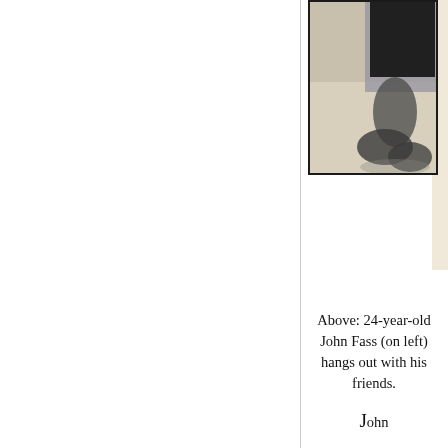[Figure (photo): Black and white photograph showing the lower body/feet of a person, cropped view showing legs and shoes on a light-colored surface. Partial view, appears to be a vintage photo.]
Above: 24-year-old John Fass (on left) hangs out with his friends.
John